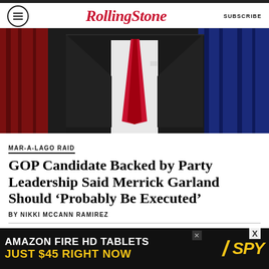RollingStone | SUBSCRIBE
[Figure (photo): A man in a dark suit with a red tie, photographed from the chest down, against a dark background with red and blue elements.]
MAR-A-LAGO RAID
GOP Candidate Backed by Party Leadership Said Merrick Garland Should ‘Probably Be Executed’
BY NIKKI MCCANN RAMIREZ
[Figure (photo): Two partially visible photos at the bottom of the article page.]
[Figure (other): Advertisement: AMAZON FIRE HD TABLETS JUST $45 RIGHT NOW — SPY]